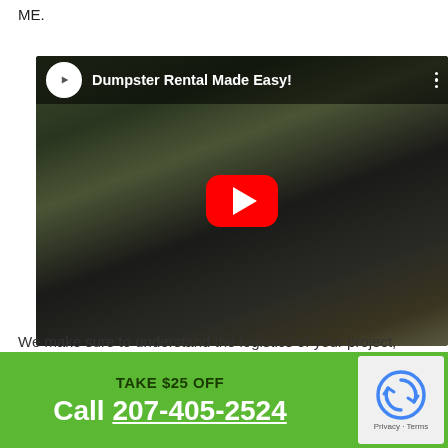ME.
[Figure (screenshot): YouTube video embed showing a dumpster rental truck on a residential street, with play button overlay and title 'Dumpster Rental Made Easy!']
We make sure to understand the logistics of your project, before recommending one of our dumpster rentals, to ensure you receive the bin and price quote optimally suited to your needs. It's the personal touch that makes
TAKE $25 OFF
Call 207-405-2524